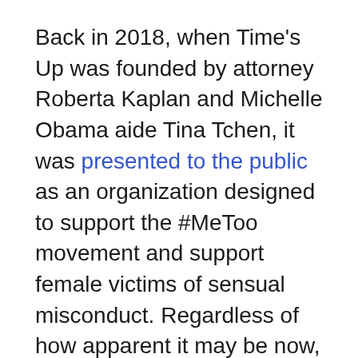Back in 2018, when Time's Up was founded by attorney Roberta Kaplan and Michelle Obama aide Tina Tchen, it was presented to the public as an organization designed to support the #MeToo movement and support female victims of sensual misconduct. Regardless of how apparent it may be now, few commenters in the corporate media believed it would become an apologist outlet for Democrats accused of abusing women.
As it turned out, Kaplan was one of the first people to whom former Democratic New York Governor Andrew Cuomo reached out after